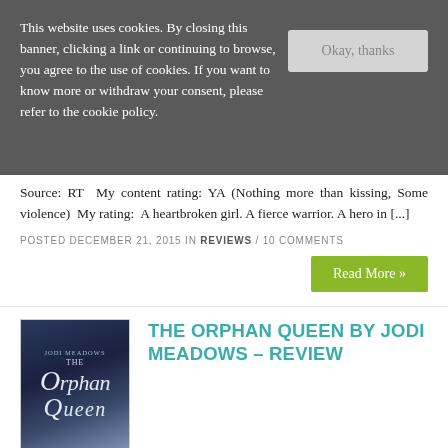This website uses cookies. By closing this banner, clicking a link or continuing to browse, you agree to the use of cookies. If you want to know more or withdraw your consent, please refer to the cookie policy.
Okay, thanks
Source: RT  My content rating: YA (Nothing more than kissing, Some violence)  My rating:  A heartbroken girl. A fierce warrior. A hero in [...]
POSTED DECEMBER 21, 2015 IN REVIEWS / 10 COMMENTS
Read More »
[Figure (illustration): Book cover of The Orphan Queen by Jodi Meadows, dark blue toned cover with stylized O and Q letters forming an artistic design]
THE ORPHAN QUEEN BY JODI MEADOWS – REVIEW